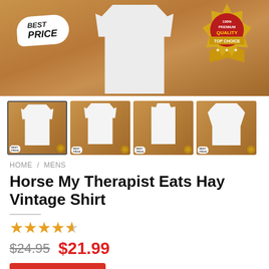[Figure (photo): Hero banner showing a t-shirt on a sandy/earthy background with 'BEST PRICE' badge on left and '100% PREMIUM QUALITY TOP CHOICE' gold badge on right]
[Figure (photo): Row of four product thumbnail images showing t-shirts with 'MY THERAPIST EATS HAY' horse graphic in different styles]
HOME / MENS
Horse My Therapist Eats Hay Vintage Shirt
★★★★★ (4.5 stars)
$24.95  $21.99
BUY NOW